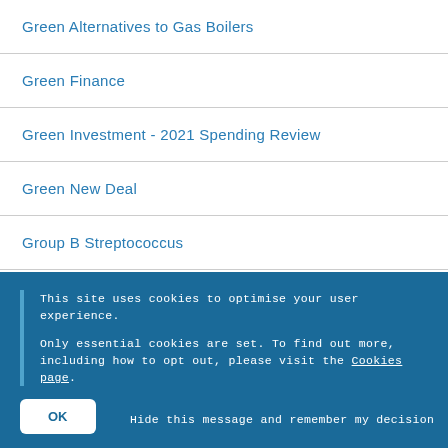Green Alternatives to Gas Boilers
Green Finance
Green Investment - 2021 Spending Review
Green New Deal
Group B Streptococcus
Guidance on Boycotts (Stop BDS)
Hamas
This site uses cookies to optimise your user experience.

Only essential cookies are set. To find out more, including how to opt out, please visit the Cookies page.
OK  Hide this message and remember my decision